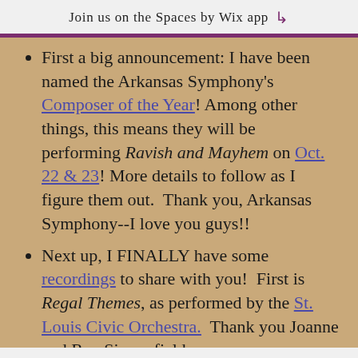Join us on the Spaces by Wix app ↓
First a big announcement: I have been named the Arkansas Symphony's Composer of the Year! Among other things, this means they will be performing Ravish and Mayhem on Oct. 22 & 23! More details to follow as I figure them out.  Thank you, Arkansas Symphony--I love you guys!!
Next up, I FINALLY have some recordings to share with you!  First is Regal Themes, as performed by the St. Louis Civic Orchestra.  Thank you Joanne and Rex Sinquofield